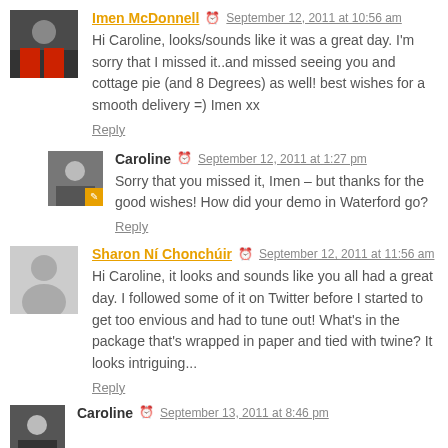Imen McDonnell — September 12, 2011 at 10:56 am
Hi Caroline, looks/sounds like it was a great day. I'm sorry that I missed it..and missed seeing you and cottage pie (and 8 Degrees) as well! best wishes for a smooth delivery =) Imen xx
Reply
Caroline — September 12, 2011 at 1:27 pm
Sorry that you missed it, Imen – but thanks for the good wishes! How did your demo in Waterford go?
Reply
Sharon Ní Chonchúir — September 12, 2011 at 11:56 am
Hi Caroline, it looks and sounds like you all had a great day. I followed some of it on Twitter before I started to get too envious and had to tune out! What's in the package that's wrapped in paper and tied with twine? It looks intriguing...
Reply
Caroline — September 13, 2011 at 8:46 pm